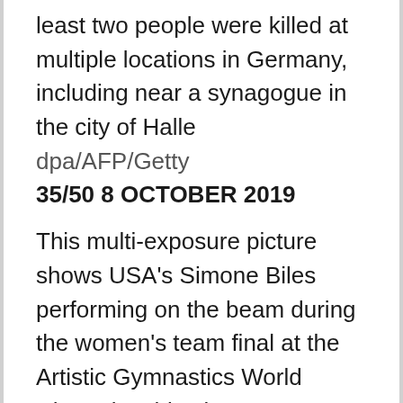least two people were killed at multiple locations in Germany, including near a synagogue in the city of Halle
dpa/AFP/Getty
35/50 8 OCTOBER 2019
This multi-exposure picture shows USA's Simone Biles performing on the beam during the women's team final at the Artistic Gymnastics World Championships in Stuttgart